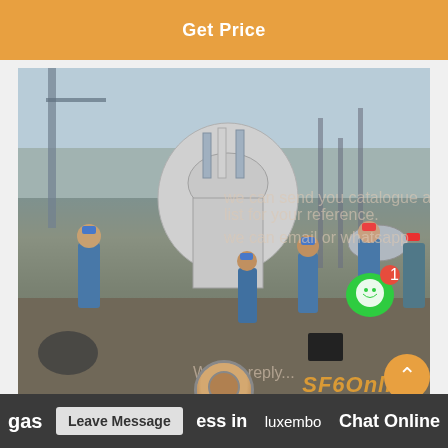Get Price
[Figure (photo): Industrial workers in blue coveralls and hard hats working around large SF6 gas equipment/switchgear at an outdoor electrical substation. Several workers visible around large gray cylindrical equipment. Industrial cranes and structures in background.]
we can send you catalogue and price list for your reference. we can email or whatsapp
Write a reply...
SF6Online
gas Leave Message ess in luxembo Chat Online